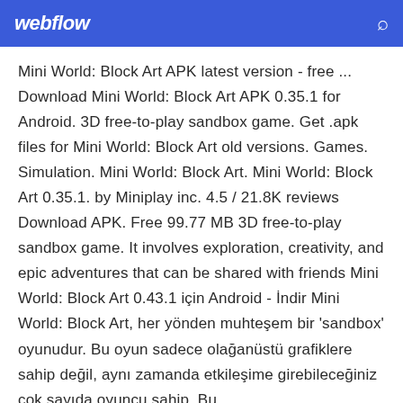webflow
Mini World: Block Art APK latest version - free ... Download Mini World: Block Art APK 0.35.1 for Android. 3D free-to-play sandbox game. Get .apk files for Mini World: Block Art old versions. Games. Simulation. Mini World: Block Art. Mini World: Block Art 0.35.1. by Miniplay inc. 4.5 / 21.8K reviews Download APK. Free 99.77 MB 3D free-to-play sandbox game. It involves exploration, creativity, and epic adventures that can be shared with friends Mini World: Block Art 0.43.1 için Android - İndir Mini World: Block Art, her yönden muhteşem bir 'sandbox' oyunudur. Bu oyun sadece olağanüstü grafiklere sahip değil, aynı zamanda etkileşime girebileceğiniz çok sayıda oyuncu sahip. Bu